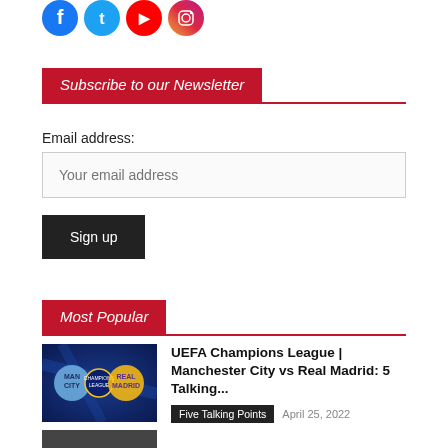[Figure (illustration): Social media icons: Facebook (blue), Twitter (blue), YouTube (red), Instagram (orange-red gradient), displayed as colored circles at top of page]
Subscribe to our Newsletter
Email address:
Your email address
Sign up
Most Popular
[Figure (photo): UEFA Champions League promotional image showing Manchester City and Real Madrid crests on a dark blue background with Champions League starball logo]
UEFA Champions League | Manchester City vs Real Madrid: 5 Talking...
Five Talking Points  April 25, 2022